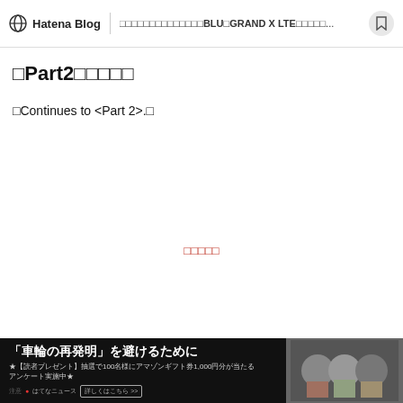Hatena Blog | □□□□□□□□□□□□□□BLU□GRAND X LTE□□□□□...
□Part2□□□□□
□Continues to <Part 2>.□
□□□□□
[Figure (logo): Nihon Blog Mura badge with red circle logo]
[Figure (screenshot): Advertisement banner: 「車輪の再発明」を避けるために with survey promotion text and photo of people]